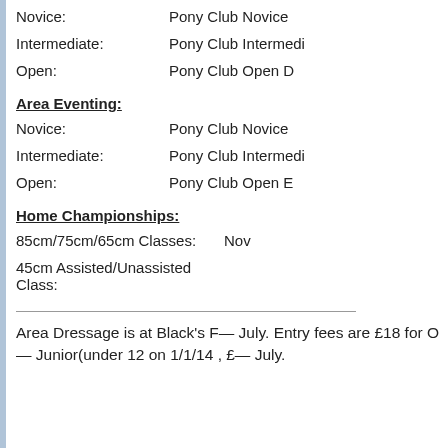Novice:    Pony Club Novice
Intermediate:    Pony Club Intermedi
Open:    Pony Club Open D
Area Eventing:
Novice:    Pony Club Novice
Intermediate:    Pony Club Intermedi
Open:    Pony Club Open E
Home Championships:
85cm/75cm/65cm Classes:    Nov
45cm Assisted/Unassisted Class:
Area Dressage is at Black's F— July. Entry fees are £18 for O— Junior(under 12 on 1/1/14 , £— July.